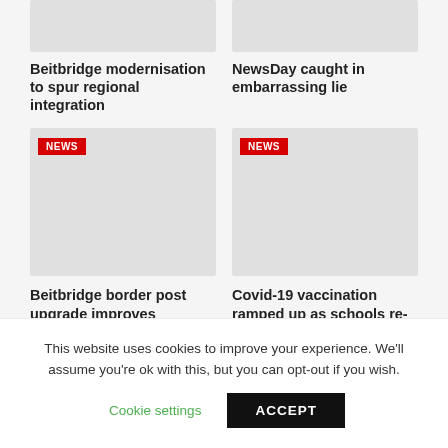[Figure (photo): Partial image placeholder top left - grey rectangle]
[Figure (photo): Partial image placeholder top right - grey rectangle]
Beitbridge modernisation to spur regional integration
NewsDay caught in embarrassing lie
[Figure (photo): News article image with NEWS badge - Beitbridge border post - grey rectangle]
[Figure (photo): News article image with NEWS badge - Covid-19 vaccination - grey rectangle]
Beitbridge border post upgrade improves efficiency
Covid-19 vaccination ramped up as schools re-open
This website uses cookies to improve your experience. We'll assume you're ok with this, but you can opt-out if you wish.